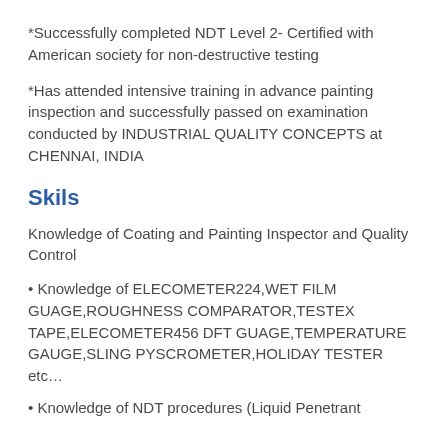*Successfully completed NDT Level 2- Certified with American society for non-destructive testing
*Has attended intensive training in advance painting inspection and successfully passed on examination conducted by INDUSTRIAL QUALITY CONCEPTS at CHENNAI, INDIA
Skils
Knowledge of Coating and Painting Inspector and Quality Control
• Knowledge of ELECOMETER224,WET FILM GUAGE,ROUGHNESS COMPARATOR,TESTEX TAPE,ELECOMETER456 DFT GUAGE,TEMPERATURE GAUGE,SLING PYSCROMETER,HOLIDAY TESTER etc…
• Knowledge of NDT procedures (Liquid Penetrant